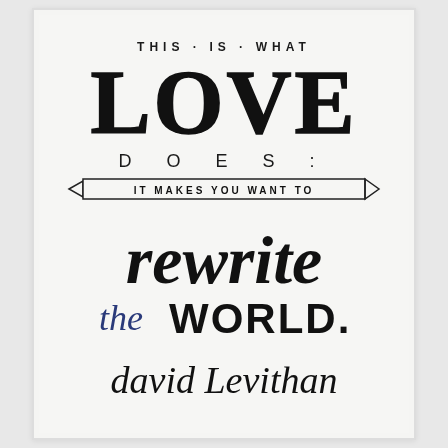[Figure (illustration): Hand-lettered inspirational quote on white background. Text reads: 'THIS IS WHAT LOVE DOES: IT MAKES YOU WANT TO rewrite the WORLD.' attributed to 'david Levithan'. The word LOVE is very large, WORLD is bold uppercase, 'rewrite' is large italic script, 'IT MAKES YOU WANT TO' is in a banner/ribbon design, 'the' is in blue italic, and 'david Levithan' is in cursive script at the bottom.]